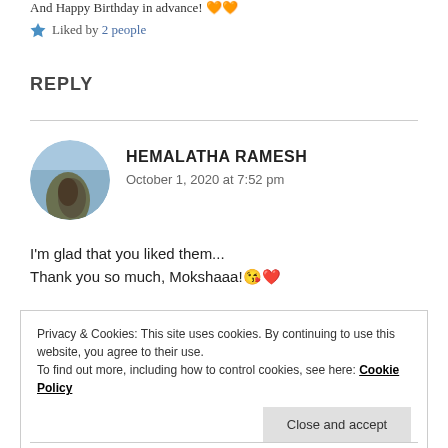And Happy Birthday in advance! 🧡🧡
★ Liked by 2 people
REPLY
HEMALATHA RAMESH
October 1, 2020 at 7:52 pm
I'm glad that you liked them...
Thank you so much, Mokshaaa! 😘❤️
Privacy & Cookies: This site uses cookies. By continuing to use this website, you agree to their use.
To find out more, including how to control cookies, see here: Cookie Policy
Close and accept